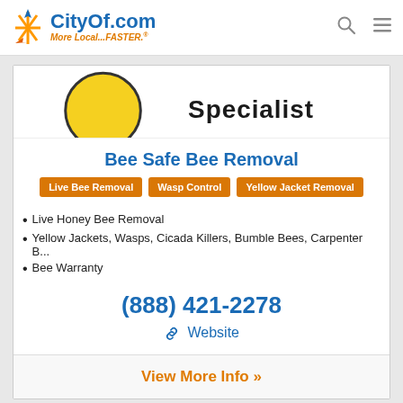CityOf.com — More Local...FASTER.®
[Figure (logo): Partial business logo image showing yellow circle and 'Specialist' text]
Bee Safe Bee Removal
Live Bee Removal
Wasp Control
Yellow Jacket Removal
Live Honey Bee Removal
Yellow Jackets, Wasps, Cicada Killers, Bumble Bees, Carpenter B...
Bee Warranty
(888) 421-2278
🔗 Website
View More Info »